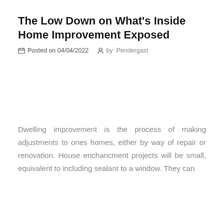The Low Down on What’s Inside Home Improvement Exposed
Posted on 04/04/2022   by   Pendergast
Dwelling improvement is the process of making adjustments to ones homes, either by way of repair or renovation. House enchancment projects will be small, equivalent to including sealant to a window. They can